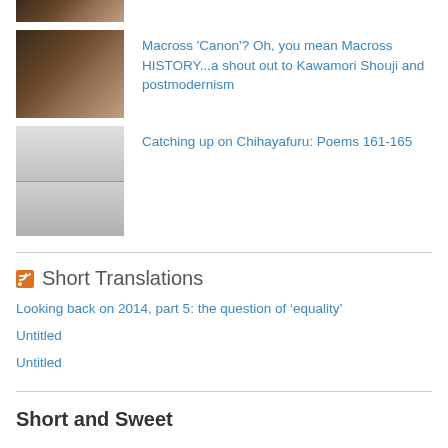[Figure (photo): Partial photo at top, cropped]
Macross 'Canon'? Oh, you mean Macross HISTORY...a shout out to Kawamori Shouji and postmodernism
[Figure (photo): Black and white manga panels]
Catching up on Chihayafuru: Poems 161-165
Short Translations
Looking back on 2014, part 5: the question of ‘equality’
Untitled
Untitled
Short and Sweet